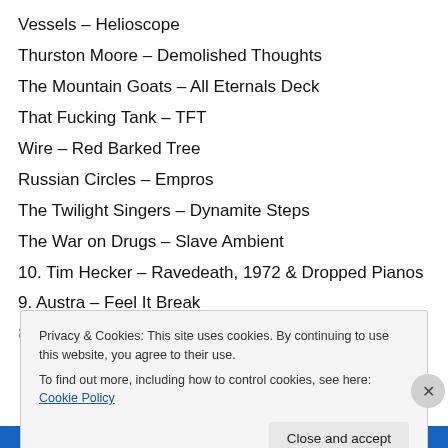Vessels – Helioscope
Thurston Moore – Demolished Thoughts
The Mountain Goats – All Eternals Deck
That Fucking Tank – TFT
Wire – Red Barked Tree
Russian Circles – Empros
The Twilight Singers – Dynamite Steps
The War on Drugs – Slave Ambient
10. Tim Hecker – Ravedeath, 1972 & Dropped Pianos
9. Austra – Feel It Break
8. Grails – Deep Politics (partially visible)
Privacy & Cookies: This site uses cookies. By continuing to use this website, you agree to their use.
To find out more, including how to control cookies, see here: Cookie Policy